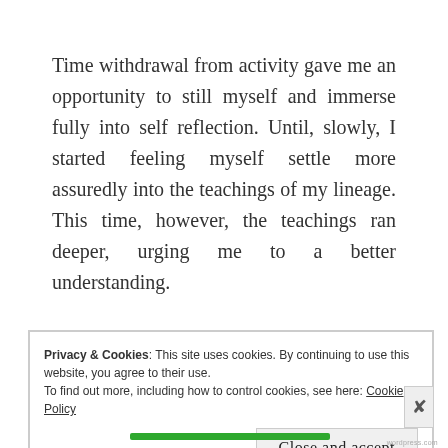Time withdrawal from activity gave me an opportunity to still myself and immerse fully into self reflection. Until, slowly, I started feeling myself settle more assuredly into the teachings of my lineage. This time, however, the teachings ran deeper, urging me to a better understanding.
I reached out to two people who knew me well enough to give a sense a direction and understanding.
Privacy & Cookies: This site uses cookies. By continuing to use this website, you agree to their use.
To find out more, including how to control cookies, see here: Cookie Policy

Close and accept